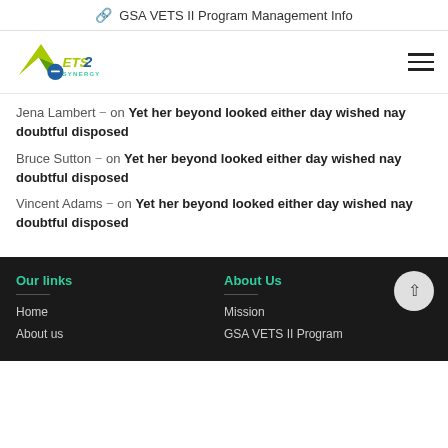GSA VETS II Program Management Info
[Figure (logo): VETS 2 Synergy logo with green wing/checkmark and blue circle]
Jena Lambert – on Yet her beyond looked either day wished nay doubtful disposed
Bruce Sutton – on Yet her beyond looked either day wished nay doubtful disposed
Vincent Adams – on Yet her beyond looked either day wished nay doubtful disposed
Our links
Home
About us
About Us
Mission
GSA VETS II Program